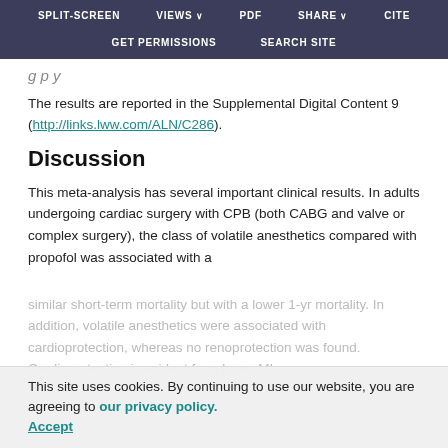SPLIT-SCREEN   VIEWS   PDF   SHARE   CITE   GET PERMISSIONS   SEARCH SITE
g p y
The results are reported in the Supplemental Digital Content 9 (http://links.lww.com/ALN/C286).
Discussion
This meta-analysis has several important clinical results. In adults undergoing cardiac surgery with CPB (both CABG and valve or complex surgery), the class of volatile anesthetics compared with propofol was associated with a similar short-term mortality but with a lower 1-yr mortality. In addition, volatile anesthetics were associated with cardioprotection, whereas no renoprotection was found. Cardioprotection is evident from lower MI
This site uses cookies. By continuing to use our website, you are agreeing to our privacy policy. Accept